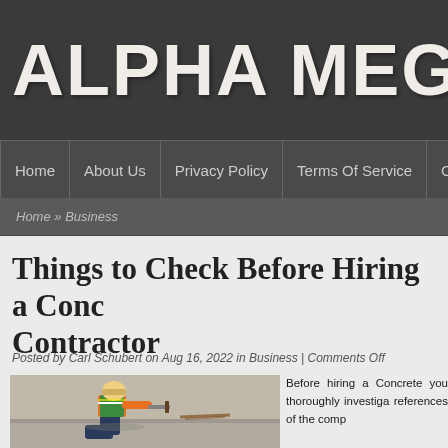ALPHA MEGA
Home | About Us | Privacy Policy | Terms Of Service | Contact
Home » Business
Things to Check Before Hiring a Concrete Contractor
Posted by Carl Schubert on Aug 16, 2022 in Business | Comments Off
[Figure (photo): Worker in orange safety vest kneeling and smoothing concrete on a surface]
Before hiring a Concrete you thoroughly investiga references of the comp